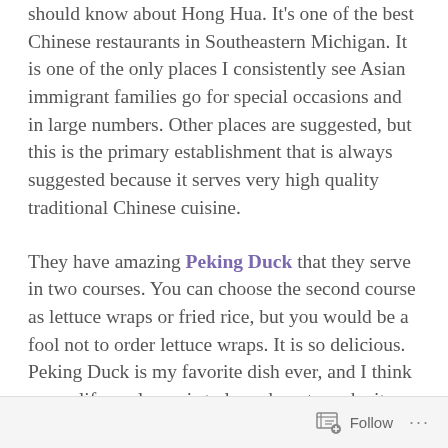should know about Hong Hua. It's one of the best Chinese restaurants in Southeastern Michigan. It is one of the only places I consistently see Asian immigrant families go for special occasions and in large numbers. Other places are suggested, but this is the primary establishment that is always suggested because it serves very high quality traditional Chinese cuisine.
They have amazing Peking Duck that they serve in two courses. You can choose the second course as lettuce wraps or fried rice, but you would be a fool not to order lettuce wraps. It is so delicious. Peking Duck is my favorite dish ever, and I think a new life goal now is to learn how to make it before I turn 40.
Follow ...